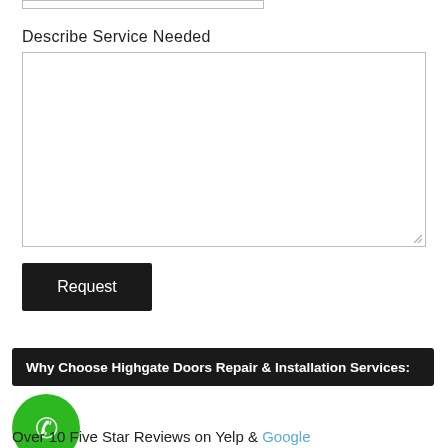Describe Service Needed
[Figure (screenshot): Empty textarea input box for describing service needed]
Request
Why Choose Highgate Doors Repair & Installation Services:
[Figure (illustration): Green circle with white phone handset icon]
Over 10 Five Star Reviews on Yelp & Google